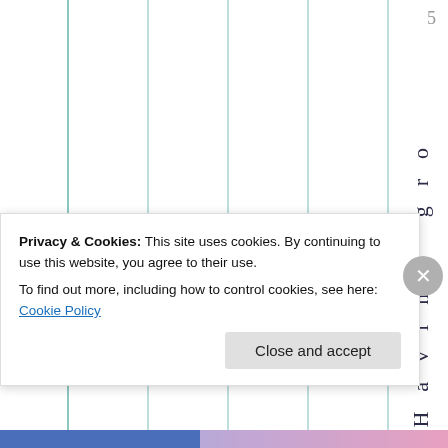5
[Figure (other): Partial view of a chart with vertical teal/green grid lines on white background. Multiple vertical lines visible across the chart area.]
H a v i n g g r o
Privacy & Cookies: This site uses cookies. By continuing to use this website, you agree to their use.
To find out more, including how to control cookies, see here: Cookie Policy
Close and accept